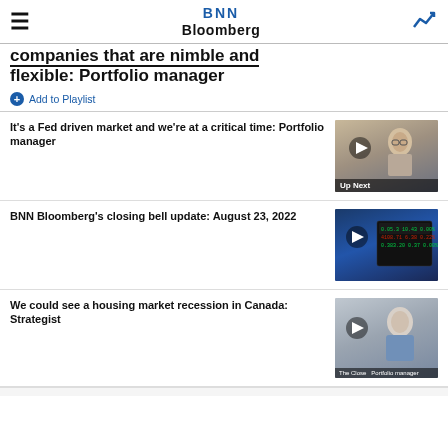BNN Bloomberg
companies that are nimble and flexible: Portfolio manager
+ Add to Playlist
It's a Fed driven market and we're at a critical time: Portfolio manager
[Figure (photo): Video thumbnail of a man in glasses seated at a desk, with 'Up Next' label overlay]
BNN Bloomberg's closing bell update: August 23, 2022
[Figure (photo): Video thumbnail showing a financial news broadcast with stock ticker board]
We could see a housing market recession in Canada: Strategist
[Figure (photo): Video thumbnail of a man in a suit with 'The Close' label overlay]